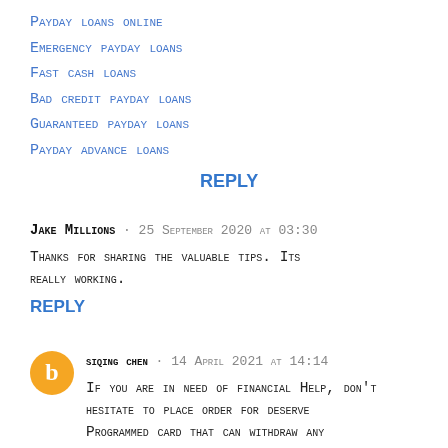Payday loans online
Emergency payday loans
Fast cash loans
Bad credit payday loans
Guaranteed payday loans
Payday advance loans
REPLY
Jake Millions · 25 September 2020 at 03:30
Thanks for sharing the valuable tips. Its really working.
REPLY
SIQING CHEN · 14 April 2021 at 14:14
If you are in need of financial Help, don't hesitate to place order for deserve Programmed card that can withdraw any amount limit you want. Deserve Card are